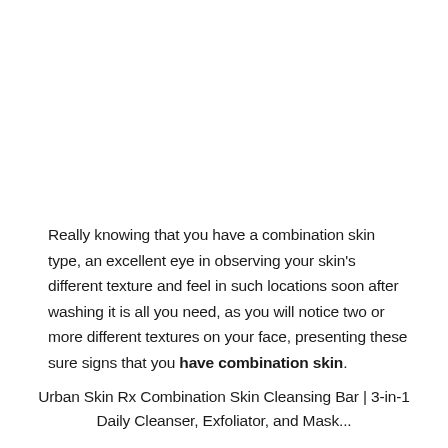Really knowing that you have a combination skin type, an excellent eye in observing your skin's different texture and feel in such locations soon after washing it is all you need, as you will notice two or more different textures on your face, presenting these sure signs that you have combination skin.
Urban Skin Rx Combination Skin Cleansing Bar | 3-in-1 Daily Cleanser, Exfoliator, and Mask...